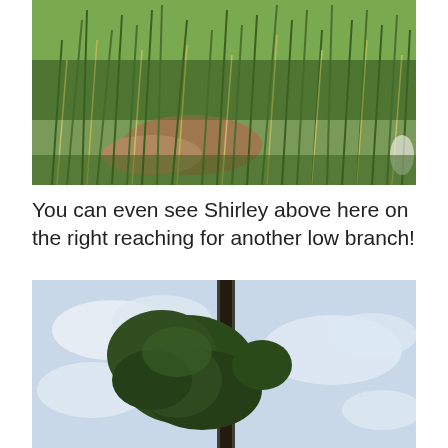[Figure (photo): Dense wild grass and vegetation field, showing tall green and yellow-green grass stalks with some bare soil patches visible, photographed outdoors in daylight.]
You can even see Shirley above here on the right reaching for another low branch!
[Figure (photo): A tall tree with a dark trunk and green leafy canopy photographed against a light blue sky with white clouds.]